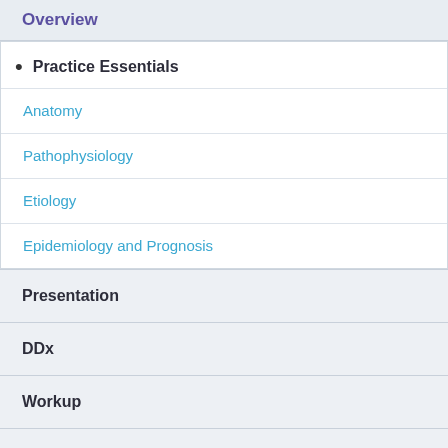Overview
Practice Essentials
Anatomy
Pathophysiology
Etiology
Epidemiology and Prognosis
Presentation
DDx
Workup
Treatment
Medication